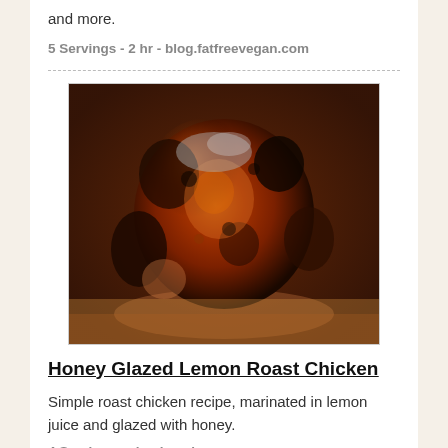and more.
5 Servings - 2 hr - blog.fatfreevegan.com
[Figure (photo): A whole roasted chicken with dark, glazed skin, photographed on a wooden surface. The chicken appears deeply caramelized with honeyed glaze.]
Honey Glazed Lemon Roast Chicken
Simple roast chicken recipe, marinated in lemon juice and glazed with honey.
4 Servings - simplyrecipes.com